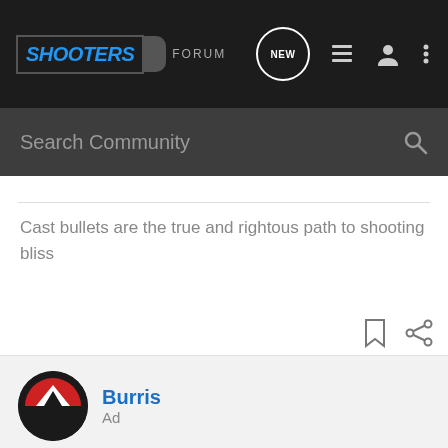SHOOTERS FORUM
Search Community
Cast bullets are the true and rightous path to shooting bliss
[Figure (other): Bookmark and share icons]
[Figure (logo): Burris optics logo - circular red and black mountain/arrow logo]
Burris
Ad
Are these the best optics to use on a Prairie Dog hunt?
In this DemoNation, we take a look at three optics from Burris that we
[Figure (other): Cabela's Reloading Supplies advertisement banner with SHOP NOW button]